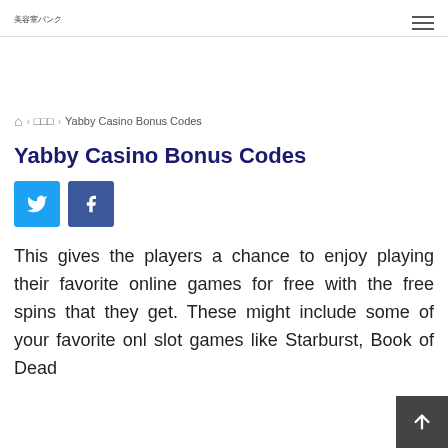美容室バンク
美容室バンク › □□□ › Yabby Casino Bonus Codes
Yabby Casino Bonus Codes
This gives the players a chance to enjoy playing their favorite online games for free with the free spins that they get. These might include some of your favorite onl… slot games like Starburst, Book of Dead…